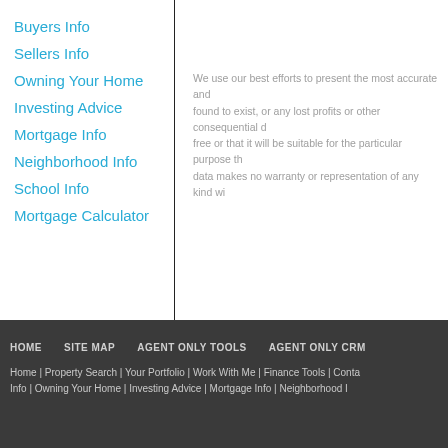Buyers Info
Sellers Info
Owning Your Home
Investing Advice
Mortgage Info
Neighborhood Info
School Info
Mortgage Calculator
We use our best efforts to present the most accurate and found to exist, or any lost profits or other consequential d free or that it will be suitable for the particular purpose th data makes no warranty or representation of any kind wi
HOME   SITE MAP   AGENT ONLY TOOLS   AGENT ONLY CRM
Home | Property Search | Your Portfolio | Work With Me | Finance Tools | Conta... Info | Owning Your Home | Investing Advice | Mortgage Info | Neighborhood I...